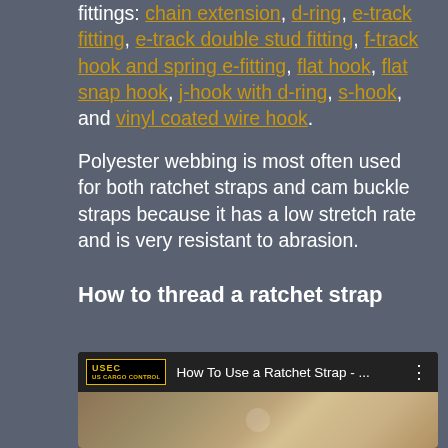fittings: chain extension, d-ring, e-track fitting, e-track double stud fitting, f-track hook and spring e-fitting, flat hook, flat snap hook, j-hook with d-ring, s-hook, and vinyl coated wire hook.
Polyester webbing is most often used for both ratchet straps and cam buckle straps because it has a low stretch rate and is very resistant to abrasion.
How to thread a ratchet strap
[Figure (screenshot): YouTube video embed showing 'How To Use a Ratchet Strap - ...' with USEC logo, video title, three-dot menu, and thumbnail showing hands working with a strap]